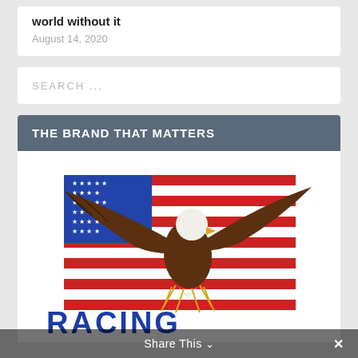world without it
August 14, 2020
SEARCH ...
THE BRAND THAT MATTERS
[Figure (logo): Racing for Heroes logo: bald eagle with wings spread over an American flag, with 'RACING' in large blue letters below and 'FOR HEROES' partially visible]
Share This